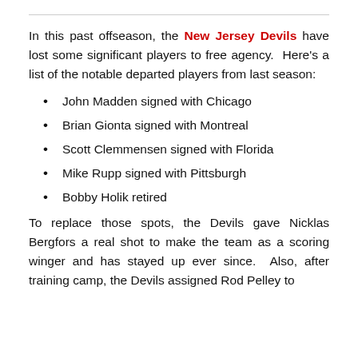In this past offseason, the New Jersey Devils have lost some significant players to free agency. Here's a list of the notable departed players from last season:
John Madden signed with Chicago
Brian Gionta signed with Montreal
Scott Clemmensen signed with Florida
Mike Rupp signed with Pittsburgh
Bobby Holik retired
To replace those spots, the Devils gave Nicklas Bergfors a real shot to make the team as a scoring winger and has stayed up ever since. Also, after training camp, the Devils assigned Rod Pelley to